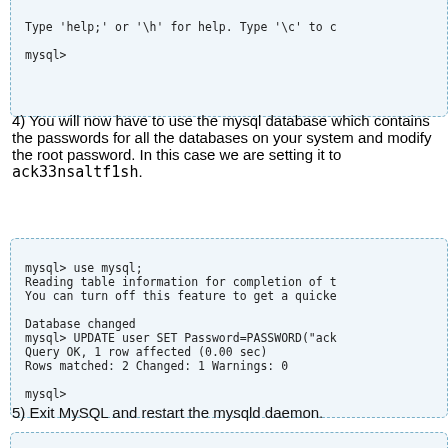Type 'help;' or '\h' for help. Type '\c' to c

mysql>
4) You will now have to use the mysql database which contains the passwords for all the databases on your system and modify the root password. In this case we are setting it to ack33nsaltf1sh.
mysql> use mysql;
Reading table information for completion of t
You can turn off this feature to get a quicke

Database changed
mysql> UPDATE user SET Password=PASSWORD("ack
Query OK, 1 row affected (0.00 sec)
Rows matched: 2 Changed: 1 Warnings: 0

mysql>
5) Exit MySQL and restart the mysqld daemon.
mysql> exit
Bye
[root@bigboy tmp]# service mysqld restart
STOPPING server from pid file /var/run/mysqld